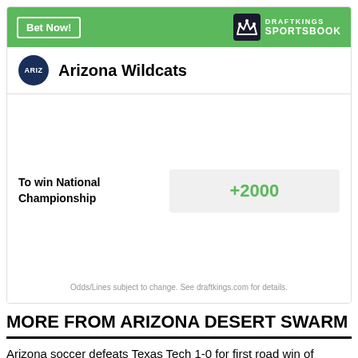[Figure (infographic): DraftKings Sportsbook betting widget for Arizona Wildcats showing odds +2000 to win National Championship]
MORE FROM ARIZONA DESERT SWARM
Arizona soccer defeats Texas Tech 1-0 for first road win of Rocca-Moros era